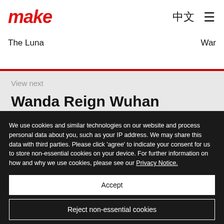make  中文  ☰
The Luna   War
View next
Wanda Reign Wuhan
We use cookies and similar technologies on our website and process personal data about you, such as your IP address. We may share this data with third parties. Please click 'agree' to indicate your consent for us to store non-essential cookies on your device. For further information on how and why we use cookies, please see our Privacy Notice.
Accept
Reject non-essential cookies